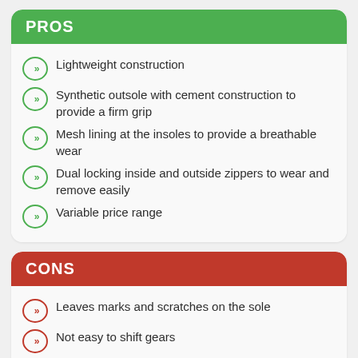PROS
Lightweight construction
Synthetic outsole with cement construction to provide a firm grip
Mesh lining at the insoles to provide a breathable wear
Dual locking inside and outside zippers to wear and remove easily
Variable price range
CONS
Leaves marks and scratches on the sole
Not easy to shift gears